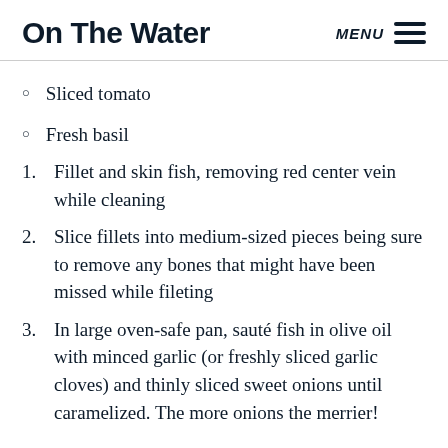On The Water | MENU
Sliced tomato
Fresh basil
Fillet and skin fish, removing red center vein while cleaning
Slice fillets into medium-sized pieces being sure to remove any bones that might have been missed while fileting
In large oven-safe pan, sauté fish in olive oil with minced garlic (or freshly sliced garlic cloves) and thinly sliced sweet onions until caramelized. The more onions the merrier!